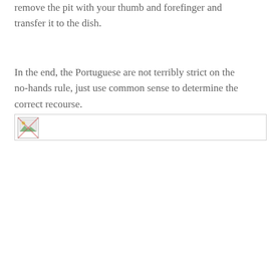remove the pit with your thumb and forefinger and transfer it to the dish.
In the end, the Portuguese are not terribly strict on the no-hands rule, just use common sense to determine the correct recourse.
[Figure (photo): Broken/missing image placeholder with small image icon in top-left corner and a border around it]